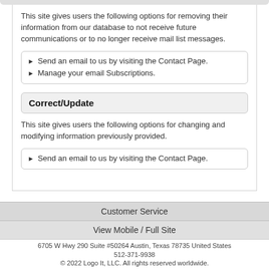This site gives users the following options for removing their information from our database to not receive future communications or to no longer receive mail list messages.
Send an email to us by visiting the Contact Page.
Manage your email Subscriptions.
Correct/Update
This site gives users the following options for changing and modifying information previously provided.
Send an email to us by visiting the Contact Page.
Customer Service
View Mobile / Full Site
6705 W Hwy 290 Suite #50264 Austin, Texas 78735 United States
512-371-9938
© 2022 Logo It, LLC. All rights reserved worldwide.